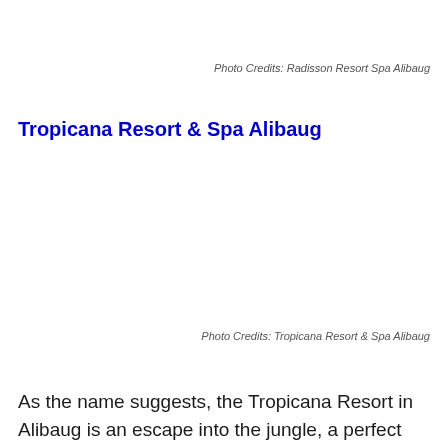Photo Credits: Radisson Resort Spa Alibaug
Tropicana Resort & Spa Alibaug
Photo Credits: Tropicana Resort & Spa Alibaug
As the name suggests, the Tropicana Resort in Alibaug is an escape into the jungle, a perfect amalgamation of